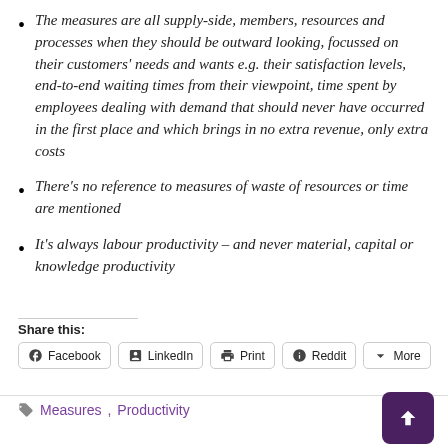The measures are all supply-side, members, resources and processes when they should be outward looking, focussed on their customers' needs and wants e.g. their satisfaction levels, end-to-end waiting times from their viewpoint, time spent by employees dealing with demand that should never have occurred in the first place and which brings in no extra revenue, only extra costs
There's no reference to measures of waste of resources or time are mentioned
It's always labour productivity – and never material, capital or knowledge productivity
Share this:
Facebook  LinkedIn  Print  Reddit  More
Measures, Productivity